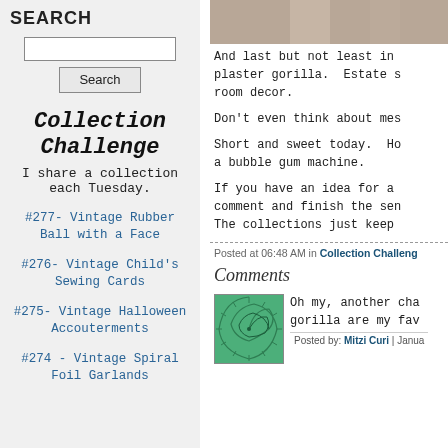SEARCH
Search input and button
[Figure (illustration): Collection Challenge logo with decorative typewriter-style font]
I share a collection each Tuesday.
#277- Vintage Rubber Ball with a Face
#276- Vintage Child's Sewing Cards
#275- Vintage Halloween Accouterments
#274 - Vintage Spiral Foil Garlands
[Figure (photo): Partial photo at top of right column showing fingers or hands]
And last but not least in plaster gorilla.  Estate s room decor.
Don't even think about mes
Short and sweet today.  Ho a bubble gum machine.
If you have an idea for a comment and finish the sen The collections just keep
Posted at 06:48 AM in Collection Challeng
Comments
[Figure (illustration): Green spiral/sunburst avatar image]
Oh my, another cha gorilla are my fav
Posted by: Mitzi Curi | Janua